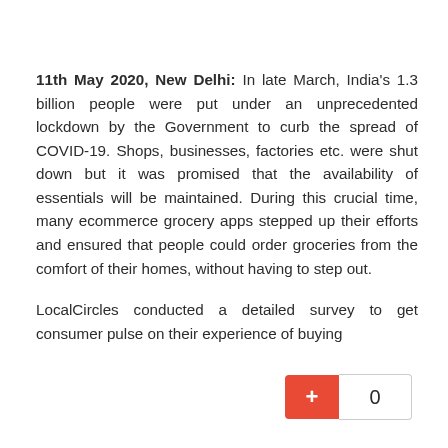11th May 2020, New Delhi: In late March, India's 1.3 billion people were put under an unprecedented lockdown by the Government to curb the spread of COVID-19. Shops, businesses, factories etc. were shut down but it was promised that the availability of essentials will be maintained. During this crucial time, many ecommerce grocery apps stepped up their efforts and ensured that people could order groceries from the comfort of their homes, without having to step out.
LocalCircles conducted a detailed survey to get consumer pulse on their experience of buying